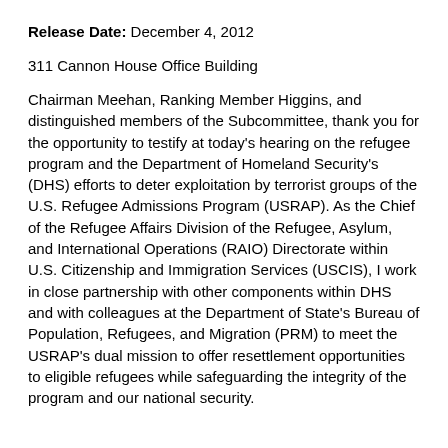Release Date: December 4, 2012
311 Cannon House Office Building
Chairman Meehan, Ranking Member Higgins, and distinguished members of the Subcommittee, thank you for the opportunity to testify at today's hearing on the refugee program and the Department of Homeland Security's (DHS) efforts to deter exploitation by terrorist groups of the U.S. Refugee Admissions Program (USRAP). As the Chief of the Refugee Affairs Division of the Refugee, Asylum, and International Operations (RAIO) Directorate within U.S. Citizenship and Immigration Services (USCIS), I work in close partnership with other components within DHS and with colleagues at the Department of State's Bureau of Population, Refugees, and Migration (PRM) to meet the USRAP's dual mission to offer resettlement opportunities to eligible refugees while safeguarding the integrity of the program and our national security.